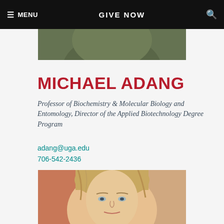MENU   GIVE NOW
[Figure (photo): Partial view of a person photo at top of page]
MICHAEL ADANG
Professor of Biochemistry & Molecular Biology and Entomology, Director of the Applied Biotechnology Degree Program
adang@uga.edu
706-542-2436
[Figure (photo): Close-up photo of a woman with blonde hair pulled back, looking at the camera]